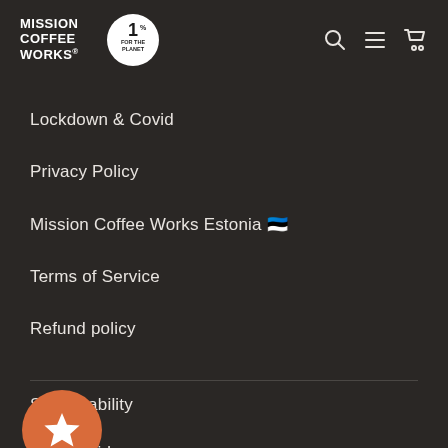MISSION COFFEE WORKS | 1% FOR THE PLANET
Lockdown & Covid
Privacy Policy
Mission Coffee Works Estonia 🇪🇪
Terms of Service
Refund policy
Sustainability
Brew Guides
Journal